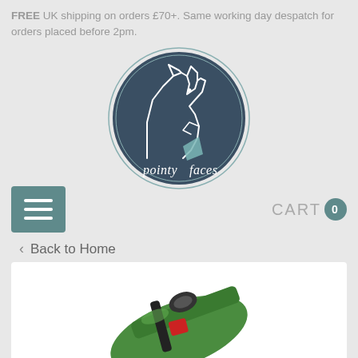FREE UK shipping on orders £70+. Same working day despatch for orders placed before 2pm.
[Figure (logo): Pointy Faces brand logo — circular dark navy badge with line-art fox/dog silhouette and the text 'pointy faces' in handwritten script]
[Figure (other): Hamburger menu button (teal square with three white lines) and CART 0 navigation elements]
< Back to Home
[Figure (photo): Close-up product photo of a green dog collar/harness with black strap and red accent, partially visible]